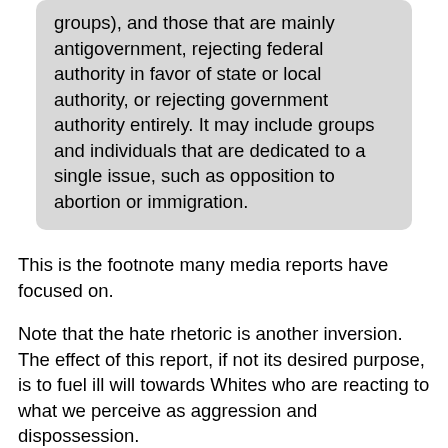groups), and those that are mainly antigovernment, rejecting federal authority in favor of state or local authority, or rejecting government authority entirely. It may include groups and individuals that are dedicated to a single issue, such as opposition to abortion or immigration.
This is the footnote many media reports have focused on.
Note that the hate rhetoric is another inversion. The effect of this report, if not its desired purpose, is to fuel ill will towards Whites who are reacting to what we perceive as aggression and dispossession.
The “rightwing extremist” and “white supremacist” smears used to describe the disparate and well-intentioned people who favor state or local authority or oppose abortion or immigration reveals the report writers’ hypocritical hatred of even the weakest and most disjoint expressions of racial/religious self-interest from a particular racial/religious